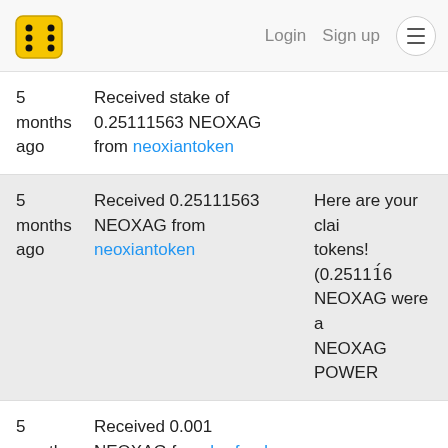Login  Sign up  ☰
5 months ago | Received stake of 0.25111563 NEOXAG from neoxiantoken
5 months ago | Received 0.25111563 NEOXAG from neoxiantoken | Here are your clai tokens! (0.25111́6 NEOXAG were a NEOXAG POWER
5 months ago | Received 0.001 NEOXAG from brofund-ag
5 months ago | Received 0.001 NEOXAG from brofund-